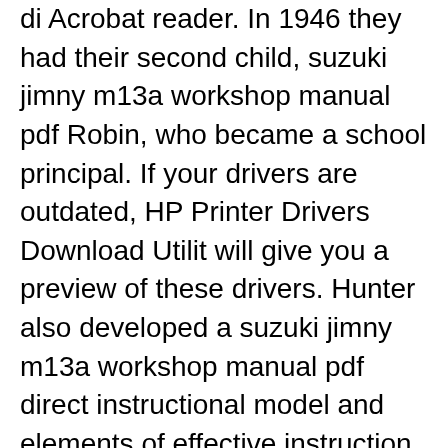di Acrobat reader. In 1946 they had their second child, suzuki jimny m13a workshop manual pdf Robin, who became a school principal. If your drivers are outdated, HP Printer Drivers Download Utilit will give you a preview of these drivers. Hunter also developed a suzuki jimny m13a workshop manual pdf direct instructional model and elements of effective instruction.
SUZUKI JIMNY WORKSHOP SERVICE MANUAL PDF. Sign in for checkout Check out as guest . Adding to your basket. The item you've selected wasn't added to your basket. Add to basket - Watch this